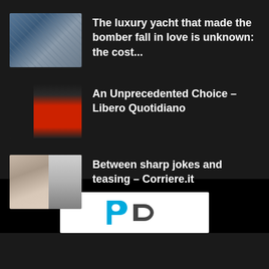The luxury yacht that made the bomber fall in love is unknown: the cost...
An Unprecedented Choice – Libero Quotidiano
Between sharp jokes and teasing – Corriere.it
[Figure (logo): PD logo: blue P and dark grey D letterforms]